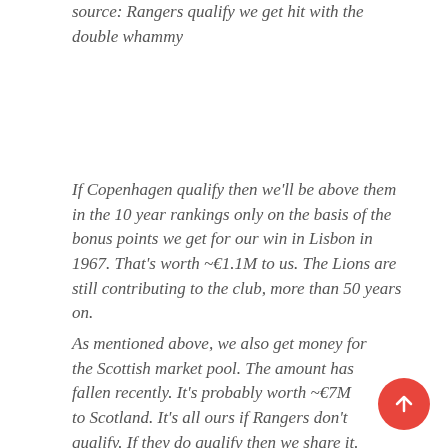source: Rangers qualify we get hit with the double whammy
If Copenhagen qualify then we'll be above them in the 10 year rankings only on the basis of the bonus points we get for our win in Lisbon in 1967. That's worth ~€1.1M to us. The Lions are still contributing to the club, more than 50 years on.
As mentioned above, we also get money for the Scottish market pool. The amount has fallen recently. It's probably worth ~€7M to Scotland. It's all ours if Rangers don't qualify. If they do qualify then we share it. It's complex. Easier to say we'll get 55%, they'll get 45%.